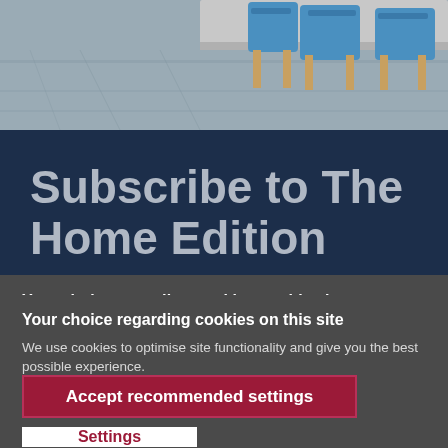[Figure (photo): Photo of blue chairs with wooden legs around a table, shot from above on a light wood floor background]
Subscribe to The Home Edition
Your choice regarding cookies on this site
We use cookies to optimise site functionality and give you the best possible experience.
Accept recommended settings
Settings